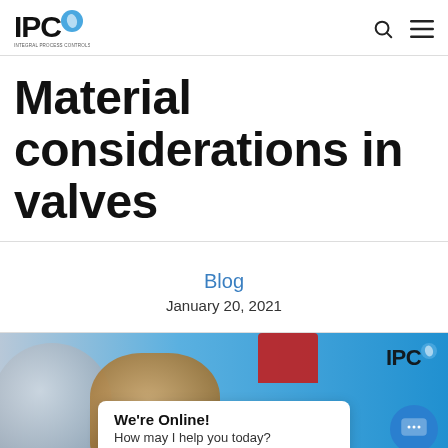IPC — Integral Process Controls
Material considerations in valves
Blog
January 20, 2021
[Figure (photo): Photo of industrial valves (silver and bronze) on a blue background, with IPC logo top right. A chat popup reads 'We're Online! How may I help you today?' with a blue chat button.]